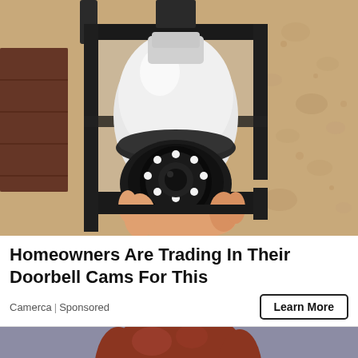[Figure (photo): A security camera shaped like a light bulb installed inside an outdoor lantern-style wall light fixture mounted on a textured stucco wall. A hand is holding/installing the white egg-shaped camera which has a ring of LED lights visible.]
Homeowners Are Trading In Their Doorbell Cams For This
Camerca | Sponsored
[Figure (illustration): Bottom portion of an animated/cartoon-style illustration showing the top of a character's head with reddish-brown hair against a purple-gray background, with a hint of a pink garment.]